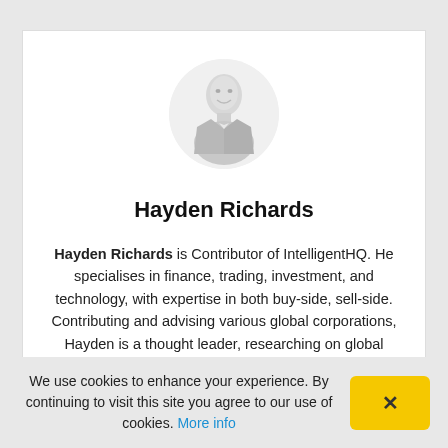[Figure (photo): Circular headshot photo of Hayden Richards, a man in a suit, greyscale/faded appearance]
Hayden Richards
Hayden Richards is Contributor of IntelligentHQ. He specialises in finance, trading, investment, and technology, with expertise in both buy-side, sell-side. Contributing and advising various global corporations, Hayden is a thought leader, researching on global
We use cookies to enhance your experience. By continuing to visit this site you agree to our use of cookies. More info